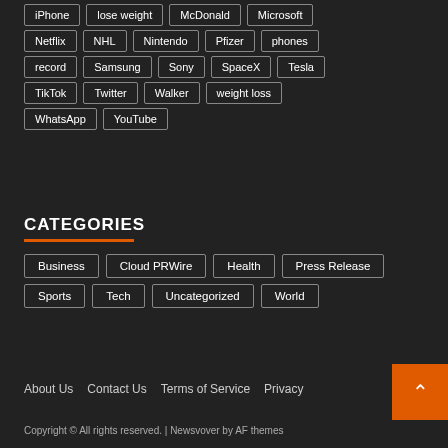iPhone
lose weight
McDonald
Microsoft
Netflix
NHL
Nintendo
Pfizer
phones
record
Samsung
Sony
SpaceX
Tesla
TikTok
Twitter
Walker
weight loss
WhatsApp
YouTube
CATEGORIES
Business
Cloud PRWire
Health
Press Release
Sports
Tech
Uncategorized
World
About Us   Contact Us   Terms of Service   Privacy
Copyright © All rights reserved. | Newsvover by AF themes